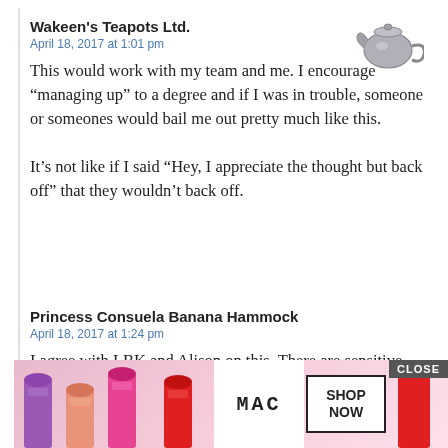Wakeen's Teapots Ltd.
April 18, 2017 at 1:01 pm
This would work with my team and me. I encourage “managing up” to a degree and if I was in trouble, someone or someones would bail me out pretty much like this.

It’s not like if I said “Hey, I appreciate the thought but back off” that they wouldn’t back off.
[Figure (photo): Silver teapot icon in the upper right of the comment block]
Princess Consuela Banana Hammock
April 18, 2017 at 1:24 pm
I agree with LBK and Alison on this. There are sensitive ways to approach this issue, and if OP has the right kind of relationship with the W[...]akes s[...]as s[...]t
[Figure (photo): MAC cosmetics advertisement overlay showing lipsticks, MAC logo, SHOP NOW button, and CLOSE button]